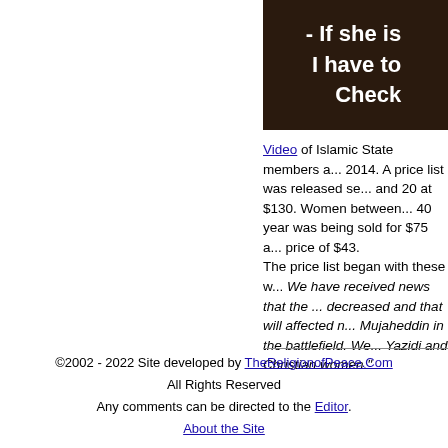[Figure (screenshot): Dark video thumbnail showing text overlay '- If she is / I have to / Check' in white bold font on a dark background]
Video of Islamic State members a... 2014. A price list was released se... and 20 at $130. Women between... 40 year was being sold for $75 a... price of $43. The price list began with these w... We have received news that the ... decreased and that will affected n... Mujaheddin in the battlefield. We... Yazidi and Christian women."
©2002 - 2022 Site developed by TheReligionofPeace.Com All Rights Reserved Any comments can be directed to the Editor. About the Site